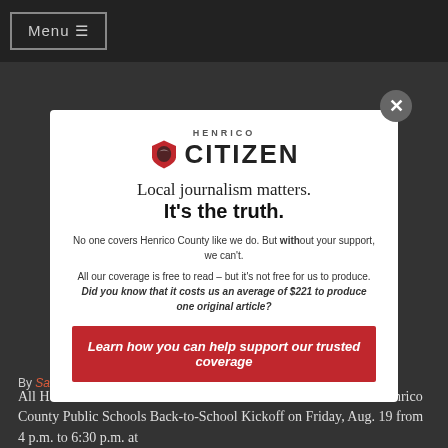Menu ≡
[Figure (logo): Henrico Citizen logo with red shield icon and bold CITIZEN text]
Local journalism matters.
It's the truth.
No one covers Henrico County like we do. But without your support, we can't.
All our coverage is free to read – but it's not free for us to produce. Did you know that it costs us an average of $221 to produce one original article?
Learn how you can help support our trusted coverage
By Sarah Story | on August 19, 2022
All Henrico students and their families are invited to the annual Henrico County Public Schools Back-to-School Kickoff on Friday, Aug. 19 from 4 p.m. to 6:30 p.m. at Glen Allen High School. Door is open to the